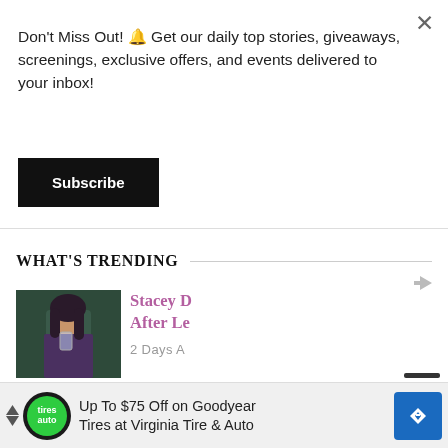Don't Miss Out! 🔔 Get our daily top stories, giveaways, screenings, exclusive offers, and events delivered to your inbox!
Subscribe
WHAT'S TRENDING
[Figure (photo): Thumbnail of a woman with dark hair drinking from a glass]
Stacey D After Le
2 Days A
[Figure (photo): Thumbnail of a man with a beard and shaved head]
Ginuwine Memes:
[Figure (screenshot): Ad banner: Up To $75 Off on Goodyear Tires at Virginia Tire & Auto]